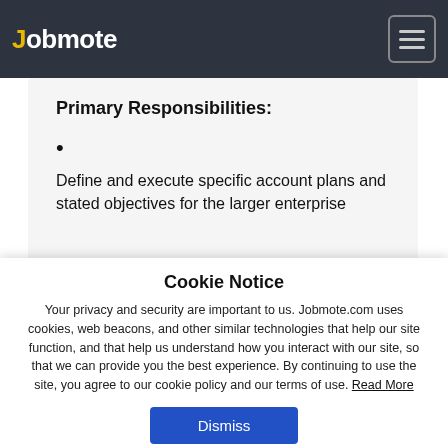Jobmote
Primary Responsibilities:
Define and execute specific account plans and stated objectives for the larger enterprise
Cookie Notice
Your privacy and security are important to us. Jobmote.com uses cookies, web beacons, and other similar technologies that help our site function, and that help us understand how you interact with our site, so that we can provide you the best experience. By continuing to use the site, you agree to our cookie policy and our terms of use. Read More
Dismiss